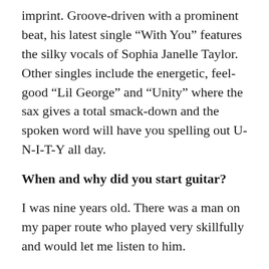imprint. Groove-driven with a prominent beat, his latest single “With You” features the silky vocals of Sophia Janelle Taylor. Other singles include the energetic, feel-good “Lil George” and “Unity” where the sax gives a total smack-down and the spoken word will have you spelling out U-N-I-T-Y all day.
When and why did you start guitar?
I was nine years old. There was a man on my paper route who played very skillfully and would let me listen to him.
How do you feel the guitar speaks through you!
A spiritual and emotional connection to the transference of physical sound.